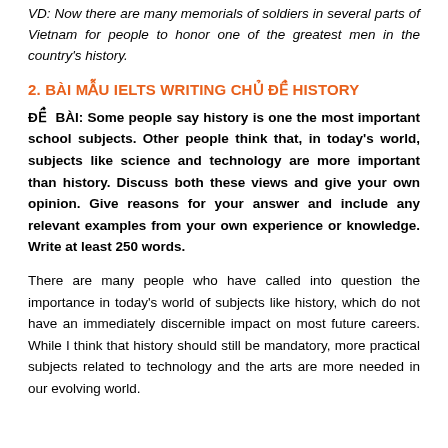VD: Now there are many memorials of soldiers in several parts of Vietnam for people to honor one of the greatest men in the country's history.
2. BÀI MẪU IELTS WRITING CHỦ ĐỀ HISTORY
ĐỀ BÀI: Some people say history is one the most important school subjects. Other people think that, in today's world, subjects like science and technology are more important than history. Discuss both these views and give your own opinion. Give reasons for your answer and include any relevant examples from your own experience or knowledge. Write at least 250 words.
There are many people who have called into question the importance in today's world of subjects like history, which do not have an immediately discernible impact on most future careers. While I think that history should still be mandatory, more practical subjects related to technology and the arts are more needed in our evolving world.